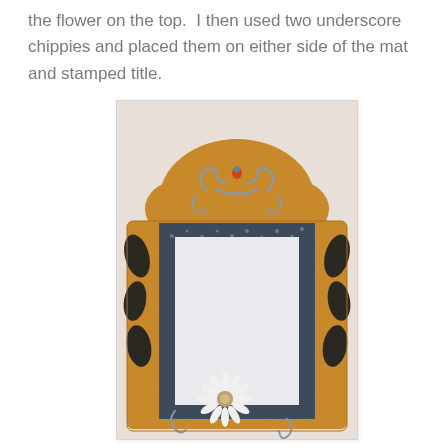the flower on the top.  I then used two underscore chippies and placed them on either side of the mat and stamped title.
[Figure (photo): A decorative wooden photo frame with ornate scrollwork at the top and bottom, painted in amber/golden tones with a dark blue patterned mat border around a white/blank center, and a white daisy flower embellishment at the bottom center. Dark leaf shapes adorn the sides.]